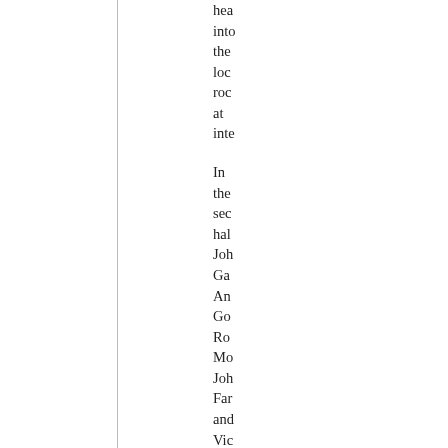hea into the loc roc at inte
In the sec hal Joh Ga An Go Ro Mo Joh Far and Vic Jac III we